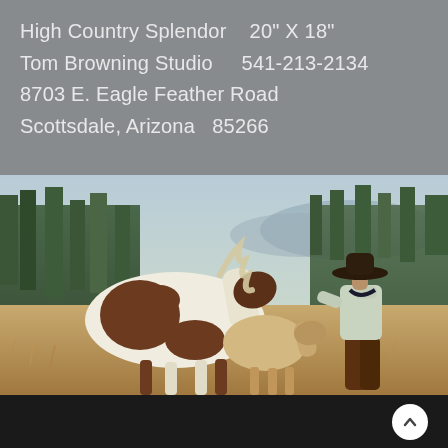High Country Splendor   20" X 18"
Tom Browning Studio    541-213-2134
8703 E. Eagle Feather Road
Scottsdale, Arizona  85266
[Figure (illustration): Painting of a cowboy in a hat and chaps standing in a golden field, tending to two horses — a brown-and-white paint horse and a smaller foal — with pine trees and mountains in the background. Western art style, warm sunlit tones.]